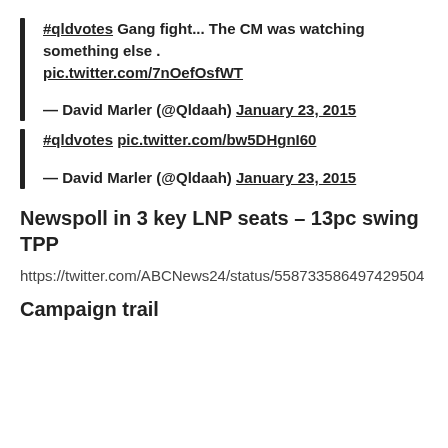#qldvotes Gang fight... The CM was watching something else . pic.twitter.com/7nOefOsfWT
— David Marler (@Qldaah) January 23, 2015
#qldvotes pic.twitter.com/bw5DHgnI60
— David Marler (@Qldaah) January 23, 2015
Newspoll in 3 key LNP seats – 13pc swing TPP
https://twitter.com/ABCNews24/status/558733586497429504
Campaign trail